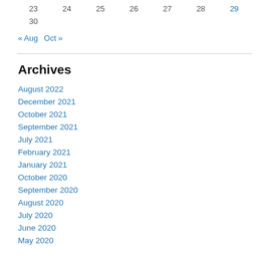| 23 | 24 | 25 | 26 | 27 | 28 | 29 |
| --- | --- | --- | --- | --- | --- | --- |
| 30 |  |  |  |  |  |  |
« Aug   Oct »
Archives
August 2022
December 2021
October 2021
September 2021
July 2021
February 2021
January 2021
October 2020
September 2020
August 2020
July 2020
June 2020
May 2020